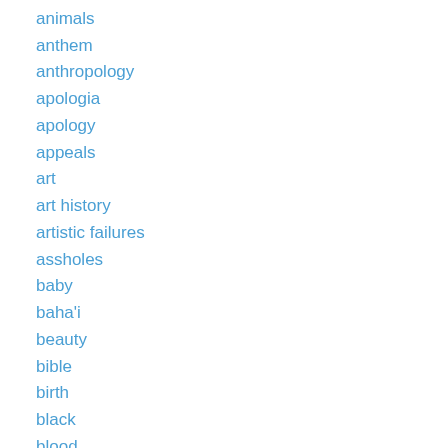animals
anthem
anthropology
apologia
apology
appeals
art
art history
artistic failures
assholes
baby
baha'i
beauty
bible
birth
black
blood
born again
boys
buddhist